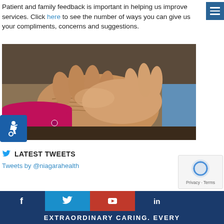Patient and family feedback is important in helping us improve services. Click here to see the number of ways you can give us your compliments, concerns and suggestions.
[Figure (photo): Close-up photo of elderly person's hands being held by a younger person's hands, showing a caring gesture. The elderly person wears a bright pink/magenta sleeve.]
LATEST TWEETS
Tweets by @niagarahealth
[Figure (infographic): Footer bar with social media icons (Facebook, Twitter, YouTube, LinkedIn) on dark navy blue background, with text EXTRAORDINARY CARING. EVERY below.]